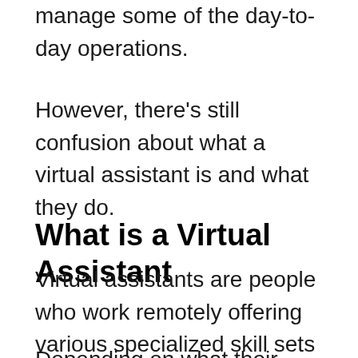manage some of the day-to-day operations.
However, there's still confusion about what a virtual assistant is and what they do.
What is a Virtual Assistant
Virtual assistants are people who work remotely offering various specialized skill sets to business owners.
Depending on what their niche expertise